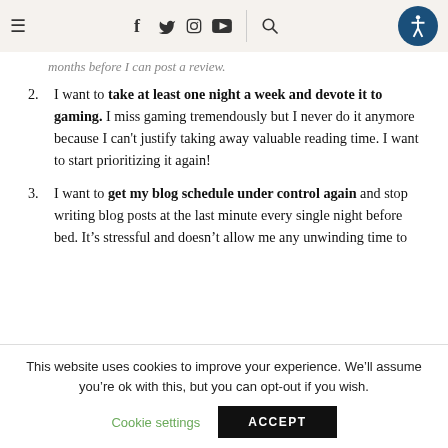Navigation bar with hamburger menu, social icons (f, twitter, instagram, youtube), search, and accessibility button
months before I can post a review.
I want to take at least one night a week and devote it to gaming. I miss gaming tremendously but I never do it anymore because I can't justify taking away valuable reading time. I want to start prioritizing it again!
I want to get my blog schedule under control again and stop writing blog posts at the last minute every single night before bed. It's stressful and doesn't allow me any unwinding time to relax before I go to sleep.
This website uses cookies to improve your experience. We'll assume you're ok with this, but you can opt-out if you wish.
Cookie settings  ACCEPT